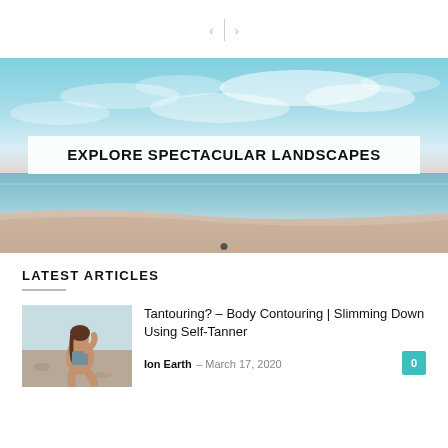[Figure (other): Navigation arrows with left and right chevrons separated by a vertical line]
[Figure (photo): Hero landscape photo showing a beach scene with blue sky and ocean, with white overlay text box reading EXPLORE SPECTACULAR LANDSCAPES and a dot indicator below]
LATEST ARTICLES
[Figure (photo): Thumbnail photo of a woman in a swimsuit sitting on a beach]
Tantouring? – Body Contouring | Slimming Down Using Self-Tanner
Ion Earth – March 17, 2020